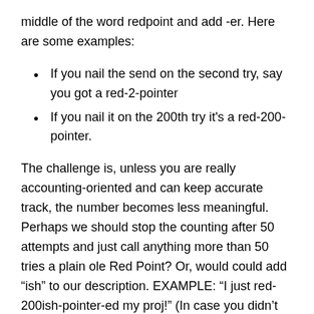middle of the word redpoint and add -er. Here are some examples:
If you nail the send on the second try, say you got a red-2-pointer
If you nail it on the 200th try it's a red-200-pointer.
The challenge is, unless you are really accounting-oriented and can keep accurate track, the number becomes less meaningful. Perhaps we should stop the counting after 50 attempts and just call anything more than 50 tries a plain ole Red Point? Or, would could add “ish” to our description. EXAMPLE: “I just red-200ish-pointer-ed my proj!” (In case you didn’t know, proj = project.)